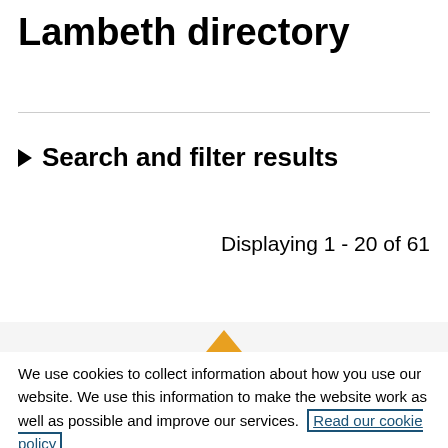Lambeth directory
▶ Search and filter results
Displaying 1 - 20 of 61
We use cookies to collect information about how you use our website. We use this information to make the website work as well as possible and improve our services. Read our cookie policy